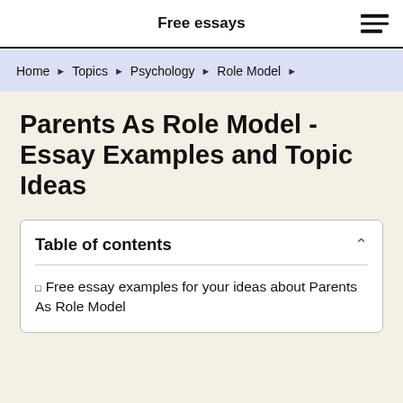Free essays
Home › Topics › Psychology › Role Model ›
Parents As Role Model - Essay Examples and Topic Ideas
Table of contents
Free essay examples for your ideas about Parents As Role Model